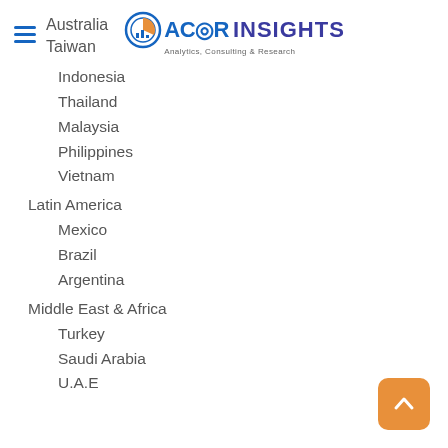ACOR INSIGHTS Analytics, Consulting & Research
Australia
Taiwan
Indonesia
Thailand
Malaysia
Philippines
Vietnam
Latin America
Mexico
Brazil
Argentina
Middle East & Africa
Turkey
Saudi Arabia
U.A.E
[Figure (illustration): Back to top button — orange rounded square with upward chevron arrow]